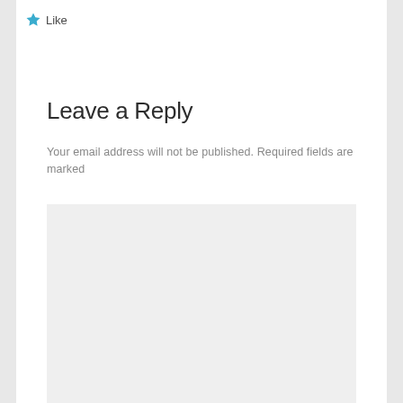Like
Leave a Reply
Your email address will not be published. Required fields are marked
[Figure (other): Empty light gray text input/comment box area]